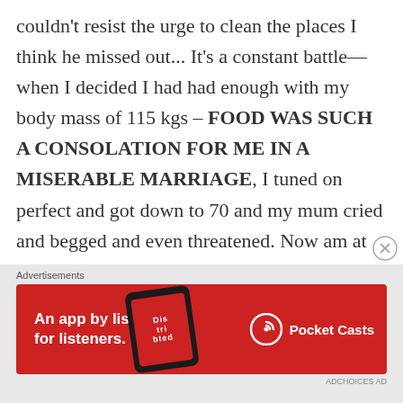couldn't resist the urge to clean the places I think he missed out... It's a constant battle— when I decided I had had enough with my body mass of 115 kgs – FOOD WAS SUCH A CONSOLATION FOR ME IN A MISERABLE MARRIAGE, I tuned on perfect and got down to 70 and my mum cried and begged and even threatened. Now am at 77 and well about to go try losing some again, but don't aim for any crap perfect...
[Figure (other): Pocket Casts advertisement banner with red background, text 'An app by listeners, for listeners.' and Pocket Casts logo]